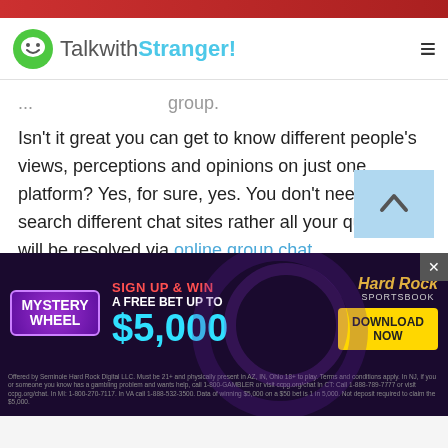TalkwithStranger!
Isn't it great you can get to know different people's views, perceptions and opinions on just one platform? Yes, for sure, yes. You don't need to search different chat sites rather all your queries will be resolved via online group chat.
And the best thing is you can chat anonymously with thousands of strangers online. Yes, your privacy is the utmost concern of TWS online group chat. If you don't want to share your real name then it's absolutely fine. All you need a nickname, tap a group
[Figure (screenshot): Hard Rock Sportsbook advertisement banner: Mystery Wheel promotion, Sign Up & Win a Free Bet Up To $5,000, Download Now button]